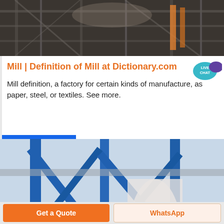[Figure (photo): Industrial machinery interior, overhead view with metal framework and equipment, dark tones]
Mill | Definition of Mill at Dictionary.com
Mill definition, a factory for certain kinds of manufacture, as paper, steel, or textiles. See more.
[Figure (other): Live Chat speech bubble badge icon in teal color with purple chat bubble]
[Figure (other): Blue industrial steel framework structure viewed from below, sky background]
Sales
Online
Get a Quote
WhatsApp